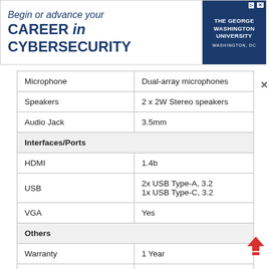[Figure (other): Advertisement banner for The George Washington University: 'Begin or advance your CAREER in CYBERSECURITY', Washington, DC]
| Microphone | Dual-array microphones |
| Speakers | 2 x 2W Stereo speakers |
| Audio Jack | 3.5mm |
| Interfaces/Ports |  |
| HDMI | 1.4b |
| USB | 2x USB Type-A, 3.2
1x USB Type-C, 3.2 |
| VGA | Yes |
| Others |  |
| Warranty | 1 Year |
| Security Feature | Kensington Lock Slot |